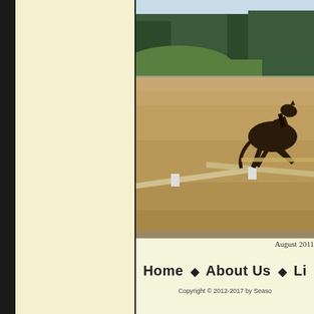[Figure (photo): A dark horse jumping over a horizontal pole in a sandy arena, with trees and sky in the background. August 2011.]
August 2011
Home ♦ About Us ♦ Li
Copyright © 2012-2017 by Seaso